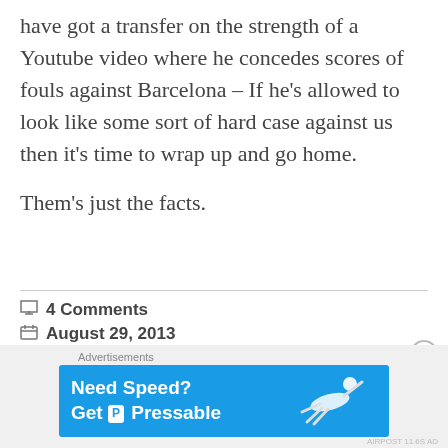have got a transfer on the strength of a Youtube video where he concedes scores of fouls against Barcelona – If he's allowed to look like some sort of hard case against us then it's time to wrap up and go home.

Them's just the facts.
4 Comments
August 29, 2013
mob1971
[Figure (infographic): Advertisement banner: 'Need Speed? Get Pressable' on a blue background with a figure of a person sliding/diving, labeled 'Advertisements' above.]